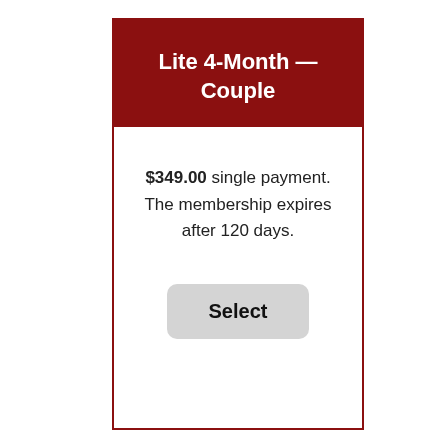Lite 4-Month — Couple
$349.00 single payment. The membership expires after 120 days.